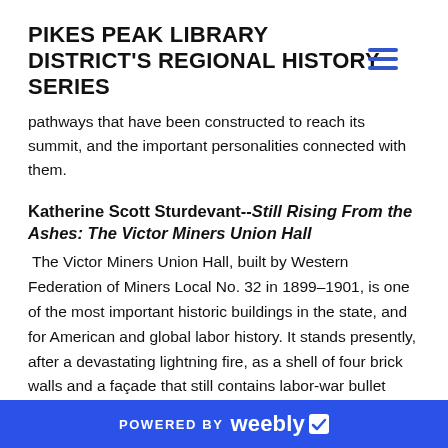PIKES PEAK LIBRARY DISTRICT'S REGIONAL HISTORY SERIES
pathways that have been constructed to reach its summit, and the important personalities connected with them.
Katherine Scott Sturdevant--Still Rising From the Ashes: The Victor Miners Union Hall
The Victor Miners Union Hall, built by Western Federation of Miners Local No. 32 in 1899–1901, is one of the most important historic buildings in the state, and for American and global labor history. It stands presently, after a devastating lightning fire, as a shell of four brick walls and a façade that still contains labor-war bullet holes. This is the story of its dramatic and violent heritage, its pathetic decline, and the passionate but tenuous campaign to save
POWERED BY weebly